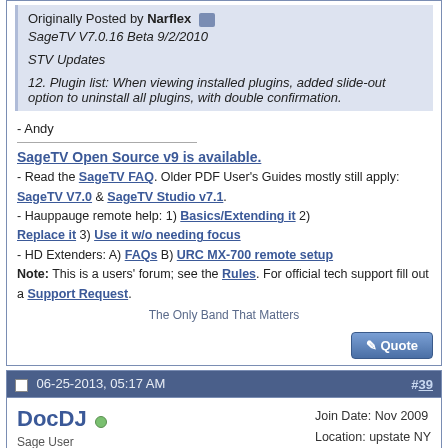Originally Posted by Narflex
SageTV V7.0.16 Beta 9/2/2010

STV Updates

12. Plugin list: When viewing installed plugins, added slide-out option to uninstall all plugins, with double confirmation.
- Andy
SageTV Open Source v9 is available.
- Read the SageTV FAQ. Older PDF User's Guides mostly still apply: SageTV V7.0 & SageTV Studio v7.1.
- Hauppauge remote help: 1) Basics/Extending it 2) Replace it 3) Use it w/o needing focus
- HD Extenders: A) FAQs B) URC MX-700 remote setup
Note: This is a users' forum; see the Rules. For official tech support fill out a Support Request.
The Only Band That Matters
06-25-2013, 05:17 AM  #39
DocDJ
Sage User
Join Date: Nov 2009
Location: upstate NY
Posts: 61
I need to re-install Sagetv & have this folder structure